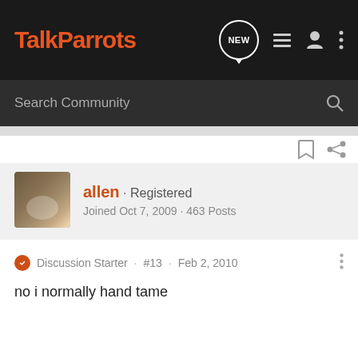TalkParrots
Search Community
allen · Registered
Joined Oct 7, 2009 · 463 Posts
Discussion Starter · #13 · Feb 2, 2010
no i normally hand tame